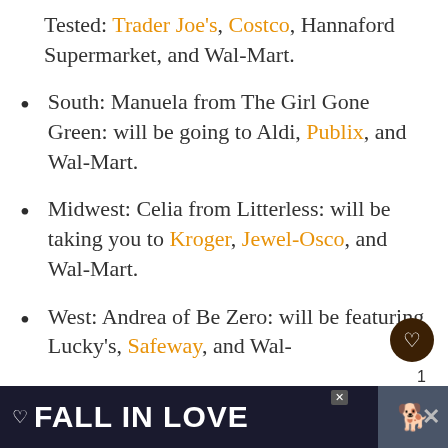Tested: Trader Joe's, Costco, Hannaford Supermarket, and Wal-Mart.
South: Manuela from The Girl Gone Green: will be going to Aldi, Publix, and Wal-Mart.
Midwest: Celia from Litterless: will be taking you to Kroger, Jewel-Osco, and Wal-Mart.
West: Andrea of Be Zero: will be featuring Lucky's, Safeway, and Wal-
[Figure (screenshot): Advertisement banner at the bottom of the page with dark background showing 'FALL IN LOVE' text with a dog image and close/dismiss buttons]